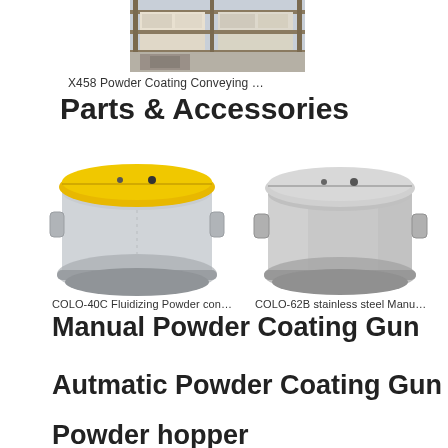[Figure (photo): Warehouse photo showing powder coating conveying equipment on shelves]
X458 Powder Coating Conveying …
Parts & Accessories
[Figure (photo): COLO-40C Fluidizing Powder container with yellow lid and grey body]
[Figure (photo): COLO-62B stainless steel Manual powder container]
COLO-40C Fluidizing Powder con…
COLO-62B stainless steel Manu…
Manual Powder Coating Gun
Autmatic Powder Coating Gun
Powder hopper